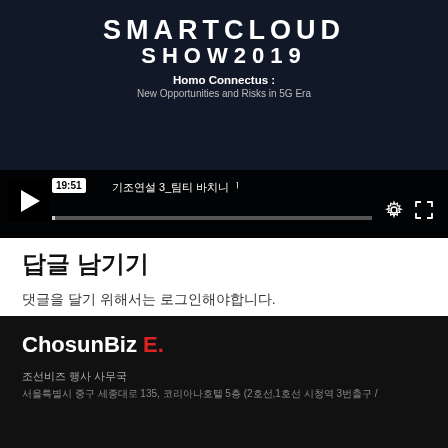[Figure (screenshot): Video player screenshot for SmartCloud Show 2019 event titled 'Homo Connectus: New Opportunities and Risks in 5G Era', showing a paused video player at timestamp 19:51 with title text '기조연설 3_팀티 바치니' and player controls including play button, progress bar, gear and fullscreen icons.]
답글 남기기
댓글을 달기 위해서는 로그인해야합니다.
[Figure (logo): ChosunBiz E. logo in white text with red 'E.' on black background]
조선비즈 행사 사무국
서울특별시 중구 세종대로 135, 코리아나호텔 5층 (2호선,1호선 시청역 3번출구 /